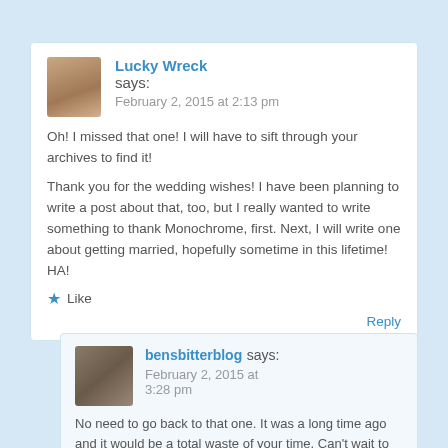Lucky Wreck says: February 2, 2015 at 2:13 pm
Oh! I missed that one! I will have to sift through your archives to find it!
Thank you for the wedding wishes! I have been planning to write a post about that, too, but I really wanted to write something to thank Monochrome, first. Next, I will write one about getting married, hopefully sometime in this lifetime! HA!
★ Like
Reply
bensbitterblog says: February 2, 2015 at 3:28 pm
No need to go back to that one. It was a long time ago and it would be a total waste of your time. Can't wait to hear about your